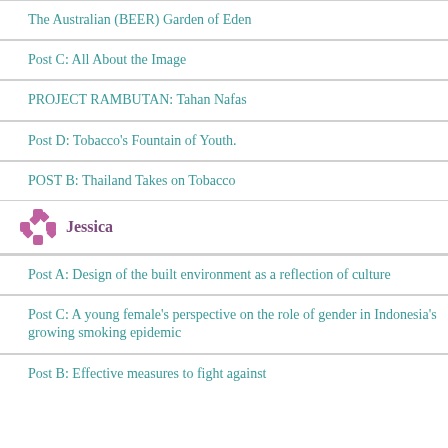The Australian (BEER) Garden of Eden
Post C: All About the Image
PROJECT RAMBUTAN: Tahan Nafas
Post D: Tobacco's Fountain of Youth.
POST B: Thailand Takes on Tobacco
Jessica
Post A: Design of the built environment as a reflection of culture
Post C: A young female's perspective on the role of gender in Indonesia's growing smoking epidemic
Post B: Effective measures to fight against